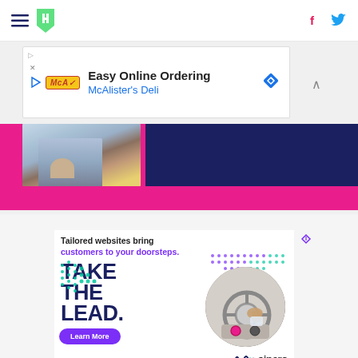HuffPost navigation with hamburger menu, logo, Facebook and Twitter icons
[Figure (screenshot): Advertisement banner: Easy Online Ordering - McAlister's Deli with play icon, McA logo, diamond icon, and collapse caret]
[Figure (photo): Hero image strip showing partial person in blue outfit on left, dark navy rectangle on right, over hot pink background]
[Figure (advertisement): Sincro ad: Tailored websites bring customers to your doorsteps. TAKE THE LEAD. with circular car/steering wheel photo, Learn More button, teal dot arrow, purple/teal dot patterns, sincro logo]
Tailored websites bring customers to your doorsteps.
TAKE THE LEAD.
Learn More
sincro